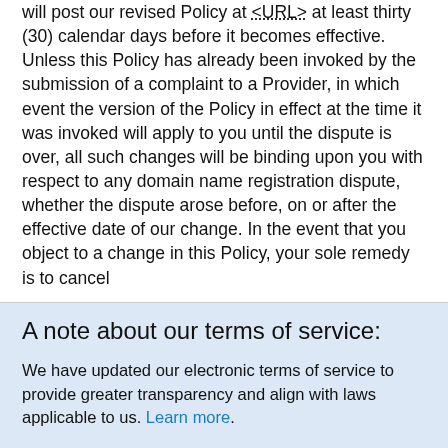will post our revised Policy at <URL> at least thirty (30) calendar days before it becomes effective. Unless this Policy has already been invoked by the submission of a complaint to a Provider, in which event the version of the Policy in effect at the time it was invoked will apply to you until the dispute is over, all such changes will be binding upon you with respect to any domain name registration dispute, whether the dispute arose before, on or after the effective date of our change. In the event that you object to a change in this Policy, your sole remedy is to cancel
A note about our terms of service:
We have updated our electronic terms of service to provide greater transparency and align with laws applicable to us. Learn more.
This site uses cookies to deliver an efficient user experience and to help us see how the site is used. Learn more. OK